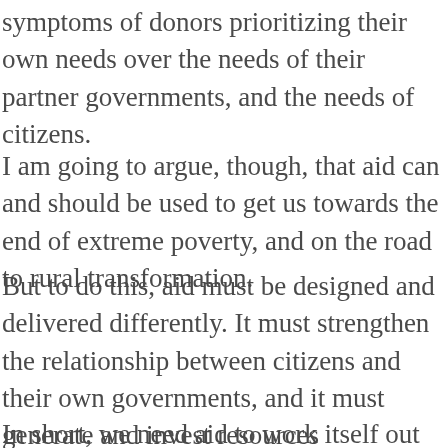symptoms of donors prioritizing their own needs over the needs of their partner governments, and the needs of citizens.
I am going to argue, though, that aid can and should be used to get us towards the end of extreme poverty, and on the road to rural transformation.
But to do this, aid must be designed and delivered differently. It must strengthen the relationship between citizens and their own governments, and it must generate and invest resources domestically for development.
In short, we need aid to work itself out of a job.